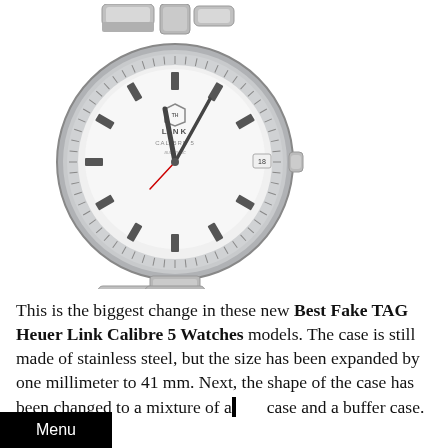[Figure (photo): TAG Heuer Link Calibre 5 watch with silver/white dial, stainless steel case and bracelet, index hour markers, date window at 3 o'clock, crown on right side.]
This is the biggest change in these new Best Fake TAG Heuer Link Calibre 5 Watches models. The case is still made of stainless steel, but the size has been expanded by one millimeter to 41 mm. Next, the shape of the case has been changed to a mixture of a case and a buffer case.